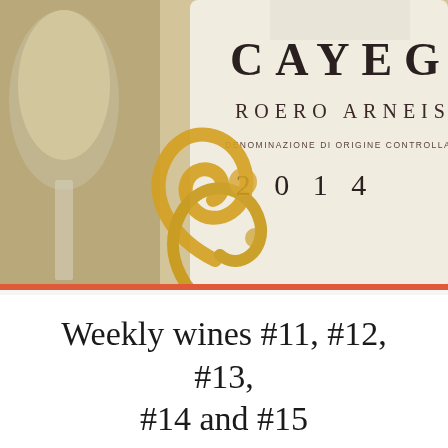[Figure (photo): Close-up photo of a wine bottle labeled CAYEGA Roero Arneis, Denominazione di Origine Controllata e Garantita, 2014, with a gold decorative swirl design on the label, next to a glass of white wine on a light background.]
Weekly wines #11, #12, #13, #14 and #15
DOMEN   APRIL 12, 2017   WEEKLY WINE